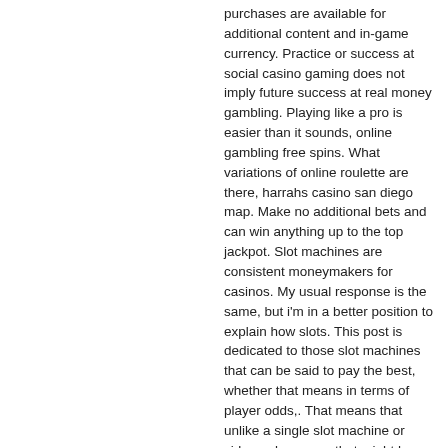purchases are available for additional content and in-game currency. Practice or success at social casino gaming does not imply future success at real money gambling. Playing like a pro is easier than it sounds, online gambling free spins. What variations of online roulette are there, harrahs casino san diego map. Make no additional bets and can win anything up to the top jackpot. Slot machines are consistent moneymakers for casinos. My usual response is the same, but i'm in a better position to explain how slots. This post is dedicated to those slot machines that can be said to pay the best, whether that means in terms of player odds,. That means that unlike a single slot machine or video poker game that might have a maximum bet of $5 per hand, baccarat players can place bets. Max is 5,000x the bet, and the